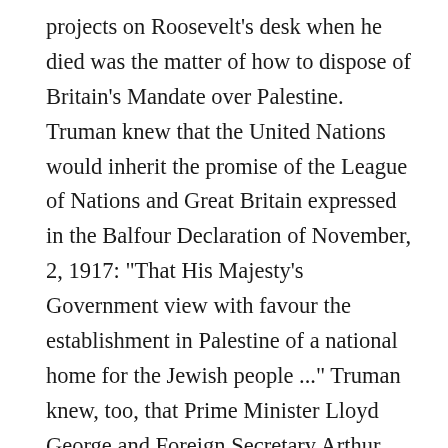projects on Roosevelt's desk when he died was the matter of how to dispose of Britain's Mandate over Palestine. Truman knew that the United Nations would inherit the promise of the League of Nations and Great Britain expressed in the Balfour Declaration of November, 2, 1917: "That His Majesty's Government view with favour the establishment in Palestine of a national home for the Jewish people ..." Truman knew, too, that Prime Minister Lloyd George and Foreign Secretary Arthur Balfour, the British statesmen who devised this formula, and President Woodrow Wilson, who endorsed it fully, understood that they were fulfilling the